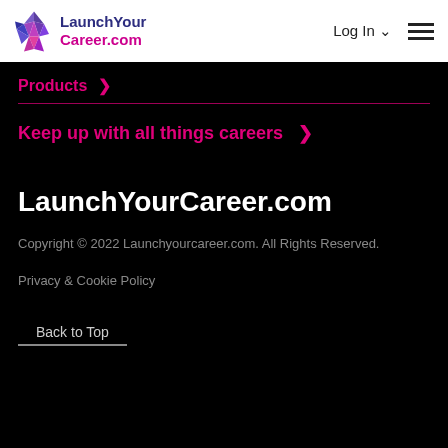LaunchYourCareer.com — Log In
Products >
Keep up with all things careers >
LaunchYourCareer.com
Copyright © 2022 Launchyourcareer.com. All Rights Reserved.
Privacy & Cookie Policy
Back to Top